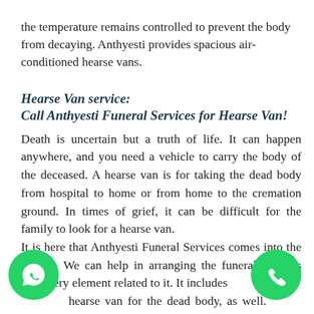the temperature remains controlled to prevent the body from decaying. Anthyesti provides spacious air-conditioned hearse vans.
Hearse Van service:
Call Anthyesti Funeral Services for Hearse Van!
Death is uncertain but a truth of life. It can happen anywhere, and you need a vehicle to carry the body of the deceased. A hearse van is for taking the dead body from hospital to home or from home to the cremation ground. In times of grief, it can be difficult for the family to look for a hearse van.
It is here that Anthyesti Funeral Services comes into the picture. We can help in arranging the funeral services and every element related to it. It includes hearse van for the dead body, as well. All you need to do is simply make a call to avail of the